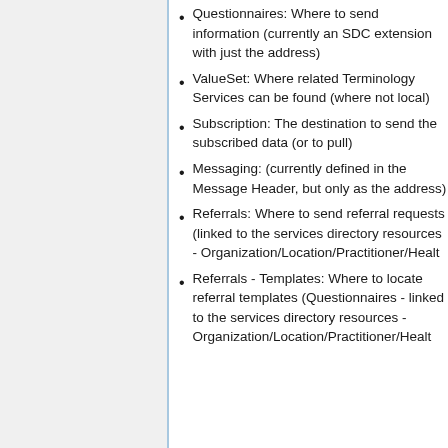Questionnaires: Where to send information (currently an SDC extension with just the address)
ValueSet: Where related Terminology Services can be found (where not local)
Subscription: The destination to send the subscribed data (or to pull)
Messaging: (currently defined in the Message Header, but only as the address)
Referrals: Where to send referral requests (linked to the services directory resources - Organization/Location/Practitioner/Healt…
Referrals - Templates: Where to locate referral templates (Questionnaires - linked to the services directory resources - Organization/Location/Practitioner/Healt…